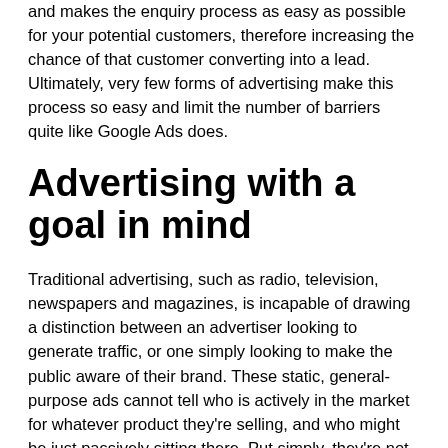and makes the enquiry process as easy as possible for your potential customers, therefore increasing the chance of that customer converting into a lead. Ultimately, very few forms of advertising make this process so easy and limit the number of barriers quite like Google Ads does.
Advertising with a goal in mind
Traditional advertising, such as radio, television, newspapers and magazines, is incapable of drawing a distinction between an advertiser looking to generate traffic, or one simply looking to make the public aware of their brand. These static, general-purpose ads cannot tell who is actively in the market for whatever product they're selling, and who might be just passively sitting there. Put simply, they're not goal-orientated. With Google Ads, not only do you have the ability to target a particular segment of your market, but you are able to target this segment at a